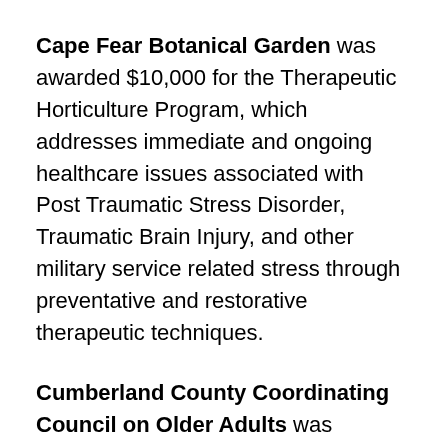Cape Fear Botanical Garden was awarded $10,000 for the Therapeutic Horticulture Program, which addresses immediate and ongoing healthcare issues associated with Post Traumatic Stress Disorder, Traumatic Brain Injury, and other military service related stress through preventative and restorative therapeutic techniques.
Cumberland County Coordinating Council on Older Adults was awarded $11,000 for the Access for the Aging Project which promotes safe accessibility